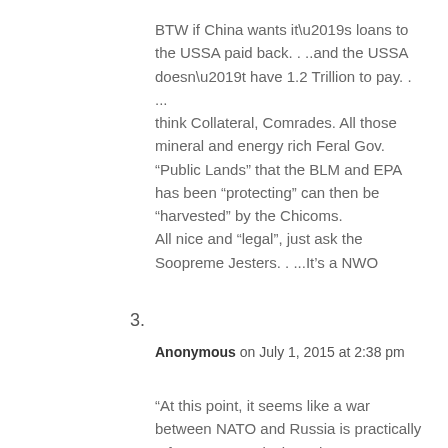BTW if China wants it’s loans to the USSA paid back. . ..and the USSA doesn’t have 1.2 Trillion to pay. . ... think Collateral, Comrades. All those mineral and energy rich Feral Gov. “Public Lands” that the BLM and EPA has been “protecting” can then be “harvested” by the Chicoms. All nice and “legal”, just ask the Soopreme Jesters. . ...It’s a NWO
3.
Anonymous on July 1, 2015 at 2:38 pm
“At this point, it seems like a war between NATO and Russia is practically a foregone conclusion. There’s